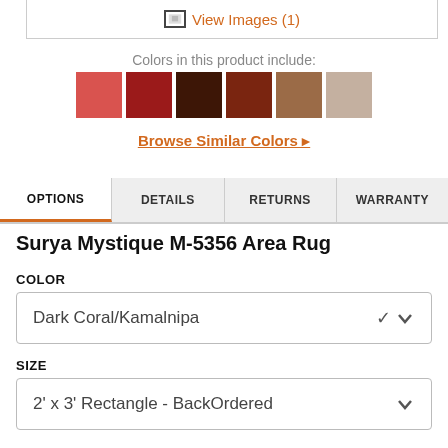[Figure (screenshot): View Images (1) button with image icon inside a bordered box]
Colors in this product include:
[Figure (other): Six color swatches: coral pink, dark red, dark brown, reddish brown, medium brown, light beige/tan]
Browse Similar Colors ▸
OPTIONS | DETAILS | RETURNS | WARRANTY (tab bar, OPTIONS active)
Surya Mystique M-5356 Area Rug
COLOR
Dark Coral/Kamalnipa
SIZE
2' x 3' Rectangle - BackOrdered